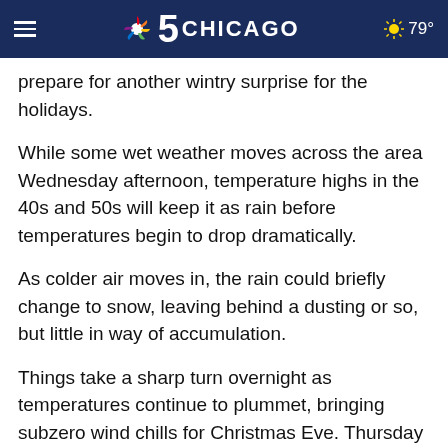NBC 5 Chicago — ☀ 79°
prepare for another wintry surprise for the holidays.
While some wet weather moves across the area Wednesday afternoon, temperature highs in the 40s and 50s will keep it as rain before temperatures begin to drop dramatically.
As colder air moves in, the rain could briefly change to snow, leaving behind a dusting or so, but little in way of accumulation.
Things take a sharp turn overnight as temperatures continue to plummet, bringing subzero wind chills for Christmas Eve. Thursday morning will likely start off with below-zero wind chills, rising into the single digits for the afternoon with temperature highs in the teens and low 20s.